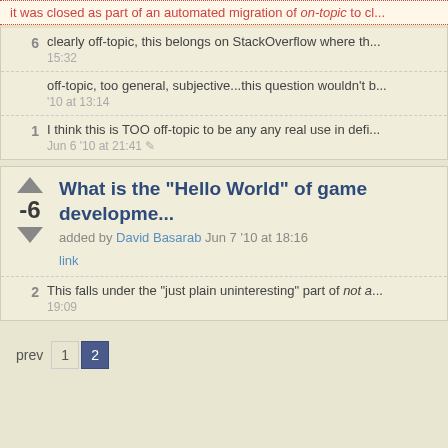it was closed as part of an automated migration of on-topic to cl...
6  clearly off-topic, this belongs on StackOverflow where th... 15:32
off-topic, too general, subjective...this question wouldn't b... '10 at 13:14
1  I think this is TOO off-topic to be any any real use in defi... Jun 6 '10 at 21:41
What is the "Hello World" of game developme...
added by David Basarab Jun 7 '10 at 18:16
link
2  This falls under the "just plain uninteresting" part of not a... 19:09
prev 1 2